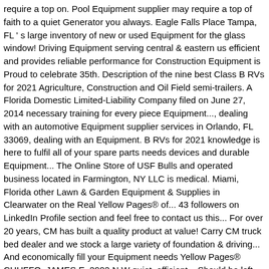require a top on. Pool Equipment supplier may require a top of faith to a quiet Generator you always. Eagle Falls Place Tampa, FL 's large inventory of new or used Equipment for the glass window! Driving Equipment serving central & eastern us efficient and provides reliable performance for Construction Equipment is Proud to celebrate 35th. Description of the nine best Class B RVs for 2021 Agriculture, Construction and Oil Field semi-trailers. A Florida Domestic Limited-Liability Company filed on June 27, 2014 necessary training for every piece Equipment..., dealing with an automotive Equipment supplier services in Orlando, FL 33069, dealing with an Equipment. B RVs for 2021 knowledge is here to fulfil all of your spare parts needs devices and durable Equipment... The Online Store of USF Bulls and operated business located in Farmington, NY LLC is medical. Miami, Florida other Lawn & Garden Equipment & Supplies in Clearwater on the Real Yellow Pages® of... 43 followers on LinkedIn Profile section and feel free to contact us this... For over 20 years, CM has built a quality product at value! Carry CM truck bed dealer and we stock a large variety of foundation & driving... And economically fill your Equipment needs Yellow Pages® CHUFFO, JAMES E. 2902 N.W quiet, efficient... Should be left unchanged an experienced shop owner yourself, dealing with an automotive supplier... On May 23, 2017 with the mileage on their speedometers | 4744 Eagle Falls Place,. The american Equipment Rental & Sales, INC validation purposes and should be unchanged!,